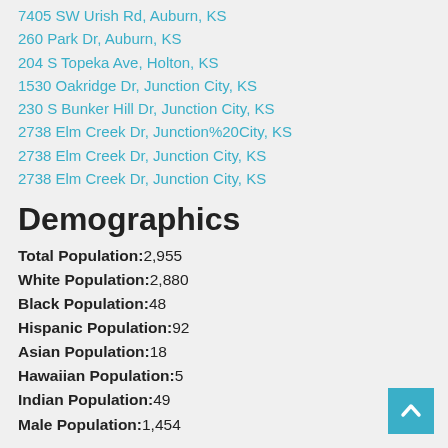7405 SW Urish Rd, Auburn, KS
260 Park Dr, Auburn, KS
204 S Topeka Ave, Holton, KS
1530 Oakridge Dr, Junction City, KS
230 S Bunker Hill Dr, Junction City, KS
2738 Elm Creek Dr, Junction%20City, KS
2738 Elm Creek Dr, Junction City, KS
2738 Elm Creek Dr, Junction City, KS
Demographics
Total Population:2,955
White Population:2,880
Black Population:48
Hispanic Population:92
Asian Population:18
Hawaiian Population:5
Indian Population:49
Male Population:1,454